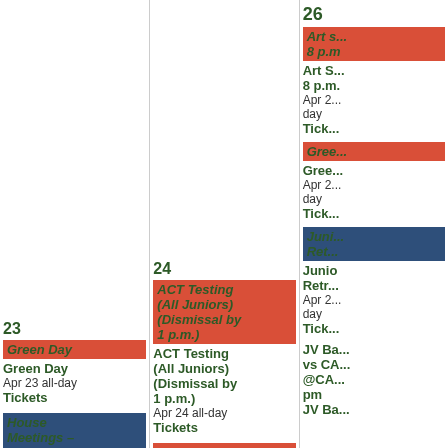| Day 23 | Day 24 | Day 26 |
| --- | --- | --- |
| Green Day | Green Day Apr 23 all-day Tickets | House Meetings – Assembly A Schedule | House ... | ACT Testing (All Juniors) (Dismissal by 1 p.m.) | ACT Testing (All Juniors) (Dismissal by 1 p.m.) Apr 24 all-day Tickets | Cambridge Testing (Freshmen & Sophomores) | 26 | Art s... 8 p.m. | Art S... 8 p.m. Apr 2... day Tick... | Gree... | Gree... Apr 2... day Tick... | Juni... Ret... | Junio Retr... Apr 2... day Tick... | JV Ba... vs CA... @CA... pm | JV Ba... |